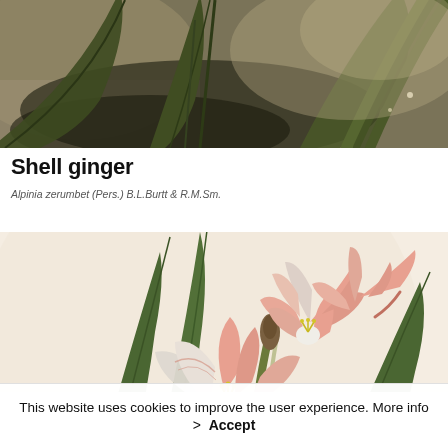[Figure (illustration): Top portion of a botanical illustration showing dark green elongated leaves and stems of Shell ginger plant against a muted background]
Shell ginger
Alpinia zerumbet (Pers.) B.L.Burtt & R.M.Sm.
[Figure (illustration): Botanical illustration of pink lily-like flowers (Amaryllis or similar) with long green strap-like leaves, showing multiple blooms with white and pink striped petals and yellow stamens on cream/beige background]
This website uses cookies to improve the user experience. More info > Accept